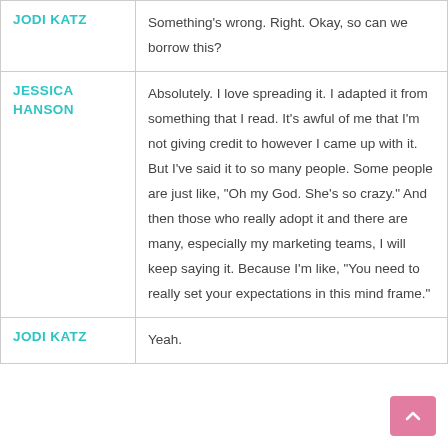| Speaker | Dialogue |
| --- | --- |
| JODI KATZ | Something's wrong. Right. Okay, so can we borrow this? |
| JESSICA HANSON | Absolutely. I love spreading it. I adapted it from something that I read. It's awful of me that I'm not giving credit to however I came up with it. But I've said it to so many people. Some people are just like, "Oh my God. She's so crazy." And then those who really adopt it and there are many, especially my marketing teams, I will keep saying it. Because I'm like, "You need to really set your expectations in this mind frame." |
| JODI KATZ | Yeah. |